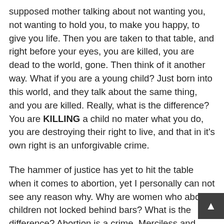supposed mother talking about not wanting you, not wanting to hold you, to make you happy, to give you life. Then you are taken to that table, and right before your eyes, you are killed, you are dead to the world, gone. Then think of it another way. What if you are a young child? Just born into this world, and they talk about the same thing, and you are killed. Really, what is the difference? You are KILLING a child no mater what you do, you are destroying their right to live, and that in it's own right is an unforgivable crime.
The hammer of justice has yet to hit the table when it comes to abortion, yet I personally can not see any reason why. Why are women who abort children not locked behind bars? What is the difference? Abortion is a crime. Merciless and unforgivable. Women who feel regret, sorrow and guilt after abortions deserve a hell of a lot worse than that, they should be locked away for murder, because when all is said and done and all the laws are aside, that is exactly the crime that they are